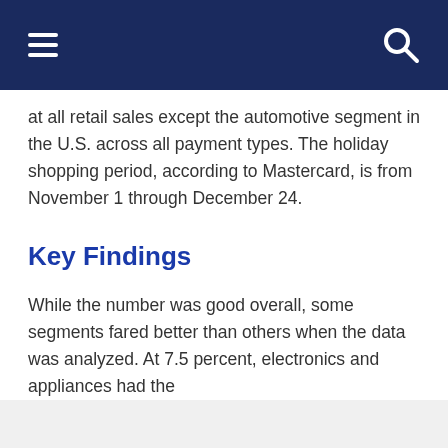at all retail sales except the automotive segment in the U.S. across all payment types. The holiday shopping period, according to Mastercard, is from November 1 through December 24.
Key Findings
While the number was good overall, some segments fared better than others when the data was analyzed. At 7.5 percent, electronics and appliances had the